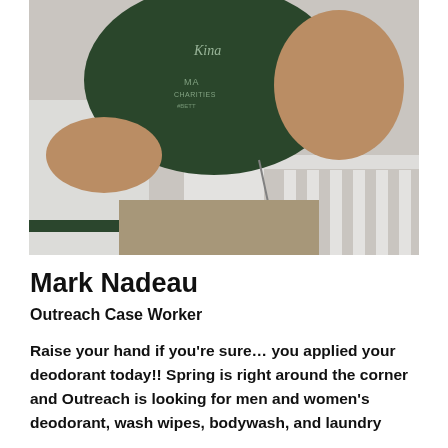[Figure (photo): A man wearing a dark green t-shirt with 'Kina' and 'MA CHARITIES #BETT' text visible, leaning over a white wooden porch railing or staircase banister. He has keys or a lanyard hanging from his belt. The background shows white siding of a building.]
Mark Nadeau
Outreach Case Worker
Raise your hand if you're sure… you applied your deodorant today!! Spring is right around the corner and Outreach is looking for men and women's deodorant, wash wipes, bodywash, and laundry